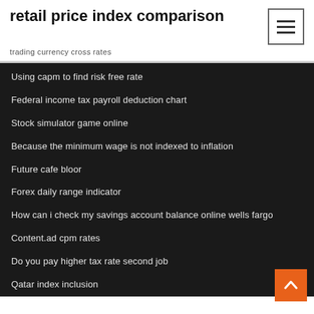retail price index comparison
trading currency cross rates
Using capm to find risk free rate
Federal income tax payroll deduction chart
Stock simulator game online
Because the minimum wage is not indexed to inflation
Future cafe bloor
Forex daily range indicator
How can i check my savings account balance online wells fargo
Content.ad cpm rates
Do you pay higher tax rate second job
Qatar index inclusion